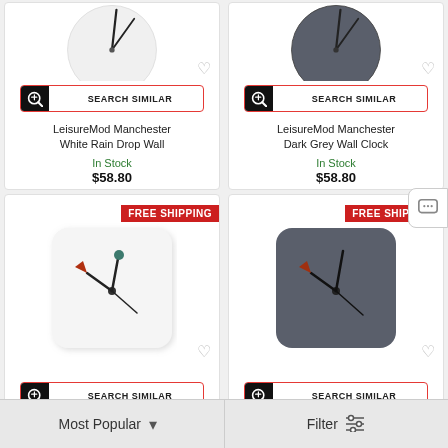[Figure (photo): LeisureMod Manchester White Rain Drop Wall Clock - top portion visible, white circular clock]
[Figure (photo): LeisureMod Manchester Dark Grey Wall Clock - top portion visible, dark grey circular clock]
LeisureMod Manchester White Rain Drop Wall
In Stock
$58.80
LeisureMod Manchester Dark Grey Wall Clock
In Stock
$58.80
[Figure (photo): White square wall clock with colorful clock hands - FREE SHIPPING badge]
[Figure (photo): Dark grey square wall clock with colorful clock hands - FREE SHIPPING badge]
Most Popular
Filter